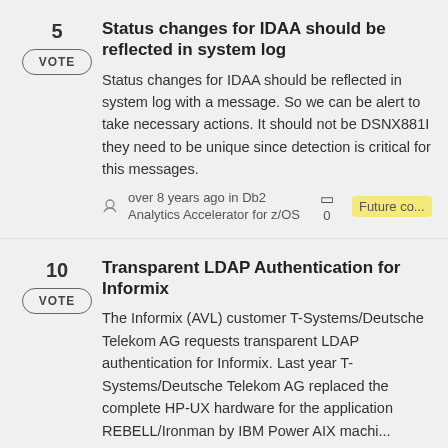5 VOTE — Status changes for IDAA should be reflected in system log
Status changes for IDAA should be reflected in system log with a message. So we can be alert to take necessary actions. It should not be DSNX881I they need to be unique since detection is critical for this messages.
over 8 years ago in Db2 Analytics Accelerator for z/OS  0  Future co...
10 VOTE — Transparent LDAP Authentication for Informix
The Informix (AVL) customer T-Systems/Deutsche Telekom AG requests transparent LDAP authentication for Informix. Last year T-Systems/Deutsche Telekom AG replaced the complete HP-UX hardware for the application REBELL/Ironman by IBM Power AIX machi...